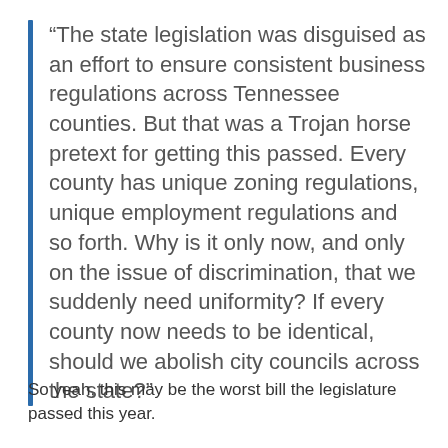“The state legislation was disguised as an effort to ensure consistent business regulations across Tennessee counties. But that was a Trojan horse pretext for getting this passed. Every county has unique zoning regulations, unique employment regulations and so forth. Why is it only now, and only on the issue of discrimination, that we suddenly need uniformity? If every county now needs to be identical, should we abolish city councils across the state?”
So yeah, this may be the worst bill the legislature passed this year.